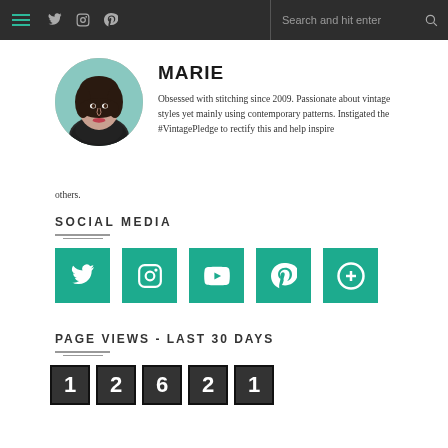Navigation bar with hamburger menu, Twitter, Instagram, Pinterest icons, search field
[Figure (photo): Circular profile photo of a woman named Marie with short dark hair, wearing a dark patterned top]
MARIE
Obsessed with stitching since 2009. Passionate about vintage styles yet mainly using contemporary patterns. Instigated the #VintagePledge to rectify this and help inspire others.
SOCIAL MEDIA
[Figure (infographic): Five teal square social media icon buttons: Twitter bird, Instagram camera, YouTube play, Pinterest P, plus/add icon]
PAGE VIEWS - LAST 30 DAYS
[Figure (infographic): Flip-board style digit counters showing the number 12621 in five dark square blocks with white digits: 1, 2, 6, 2, 1]